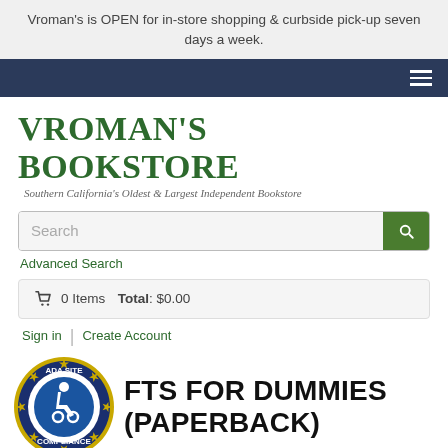Vroman's is OPEN for in-store shopping & curbside pick-up seven days a week.
[Figure (logo): Vroman's Bookstore logo — bold green serif text 'VROMAN'S BOOKSTORE' with italic subtitle 'Southern California's Oldest & Largest Independent Bookstore']
Search
Advanced Search
🛒 0 Items  Total: $0.00
Sign in | Create Account
[Figure (logo): ADA Site Compliance badge — circular blue and gold seal with wheelchair accessibility icon and text 'ADA SITE COMPLIANCE']
FTS FOR DUMMIES (PAPERBACK)